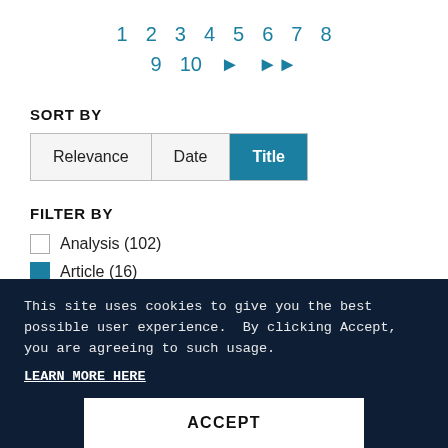1 2 3 4 5 6 7 8 9 10 ▶ ▶▶
SORT BY
Relevance | Date | Title (active)
FILTER BY
Analysis (102)
Article (16)
Blog Post (11)
This site uses cookies to give you the best possible user experience.  By clicking Accept, you are agreeing to such usage.
LEARN MORE HERE
ACCEPT